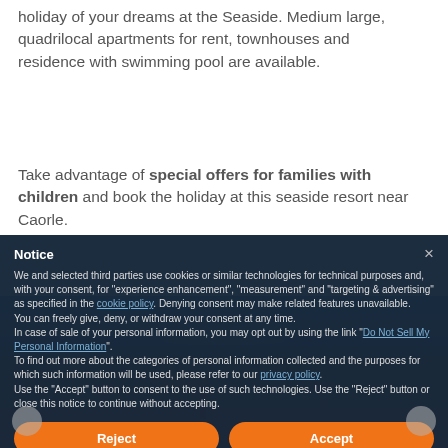holiday of your dreams at the Seaside. Medium large, quadrilocal apartments for rent, townhouses and residence with swimming pool are available.
Take advantage of special offers for families with children and book the holiday at this seaside resort near Caorle.
Notice
We and selected third parties use cookies or similar technologies for technical purposes and, with your consent, for "experience enhancement", "measurement" and "targeting & advertising" as specified in the cookie policy. Denying consent may make related features unavailable.
You can freely give, deny, or withdraw your consent at any time.
In case of sale of your personal information, you may opt out by using the link "Do Not Sell My Personal Information".
To find out more about the categories of personal information collected and the purposes for which such information will be used, please refer to our privacy policy.
Use the "Accept" button to consent to the use of such technologies. Use the "Reject" button or close this notice to continue without accepting.
Reject
Accept
Learn more and customize
[Figure (photo): Seaside resort photo showing beach, boats and coastal scenery with orange tones]